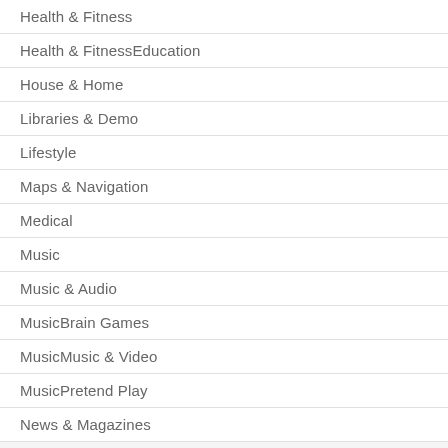Health & Fitness
Health & FitnessEducation
House & Home
Libraries & Demo
Lifestyle
Maps & Navigation
Medical
Music
Music & Audio
MusicBrain Games
MusicMusic & Video
MusicPretend Play
News & Magazines